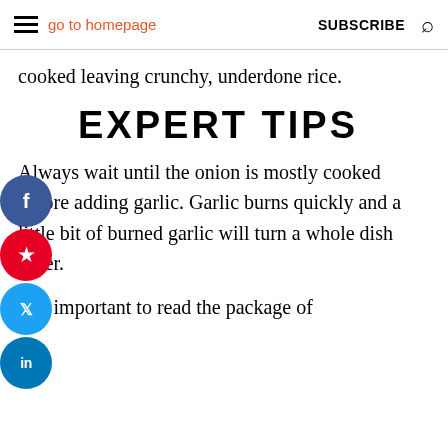go to homepage | SUBSCRIBE
cooked leaving crunchy, underdone rice.
EXPERT TIPS
Always wait until the onion is mostly cooked before adding garlic. Garlic burns quickly and a little bit of burned garlic will turn a whole dish bitter.
It is important to read the package of